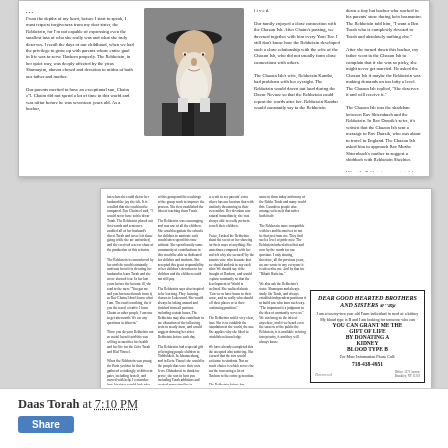[Figure (illustration): Scanned newspaper article page with text columns and a photograph of an elderly bearded man wearing a dark hat]
[Figure (screenshot): Second newspaper article page with multiple text columns and a kidney donation advertisement box on the right side]
Yated Ne'eman
Daas Torah at 7:10 PM
Share